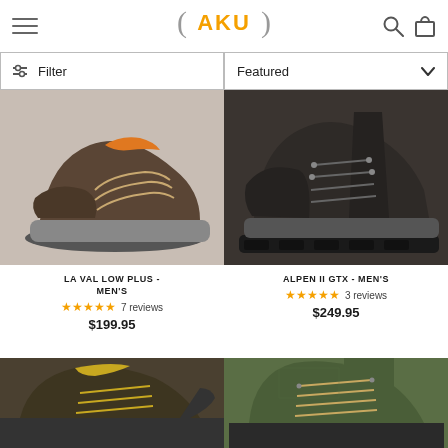AKU
Filter
Featured
[Figure (photo): Brown leather low hiking shoe - LA VAL LOW PLUS MEN'S]
LA VAL LOW PLUS - MEN'S
★★★★★ 7 reviews
$199.95
[Figure (photo): Dark brown leather hiking boot - ALPEN II GTX MEN'S]
ALPEN II GTX - MEN'S
★★★★★ 3 reviews
$249.95
[Figure (photo): Dark hiking boot with yellow accents - bottom left product]
[Figure (photo): Olive green hiking boot - bottom right product]